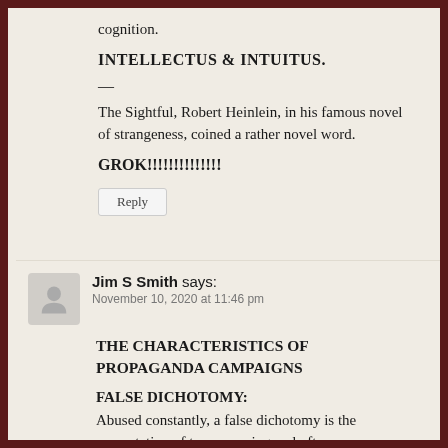cognition.
INTELLECTUS & INTUITUS.
—
The Sightful, Robert Heinlein, in his famous novel of strangeness, coined a rather novel word.
GROK!!!!!!!!!!!!!!
Reply
Jim S Smith says: November 10, 2020 at 11:46 pm
THE CHARACTERISTICS OF PROPAGANDA CAMPAIGNS
FALSE DICHOTOMY: Abused constantly, a false dichotomy is the presentation of two opposing and often incorrect ideas without allowing